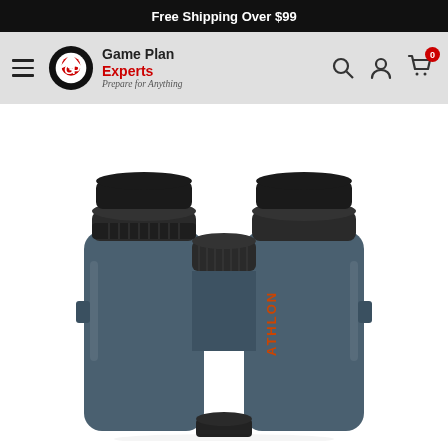Free Shipping Over $99
[Figure (logo): Game Plan Experts logo with hamburger menu, navigation icons including search, account, and cart with badge showing 0]
[Figure (photo): Close-up product photo of Athlon brand binoculars in dark slate blue/grey color with black eyepieces and focus knob, showing the ATHLON brand name in orange lettering on the body]